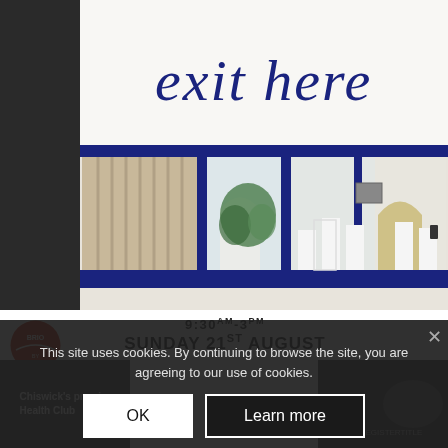[Figure (photo): Exterior storefront of a shop called 'exit here' with large blue-framed glass windows, white walls, arched interior details, and cursive 'exit here' signage above the entrance.]
9:30am-3pm
SUNDAY 21st August
This site uses cookies. By continuing to browse the site, you are agreeing to our use of cookies.
OK
Learn more